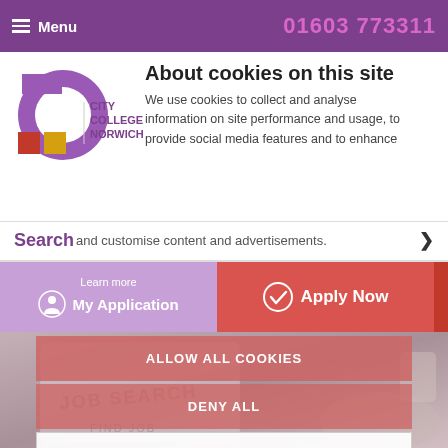Menu  01603 773311
About cookies on this site
[Figure (logo): City College Norwich logo with purple arc, red and yellow squares]
We use cookies to collect and analyse information on site performance and usage, to provide social media features and to enhance and customise content and advertisements.
Search
Learn more
My Application
Apply Now
[Figure (screenshot): Background photo of tablet showing JOB SEARCH and FIND JOB text with hands typing]
ALLOW ALL COOKIES
DENY ALL
COOKIE SETTINGS